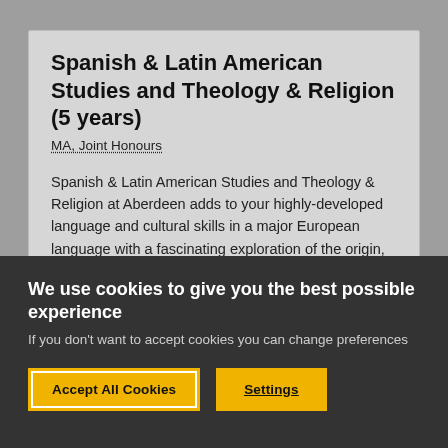Spanish & Latin American Studies and Theology & Religion (5 years)
MA, Joint Honours
Spanish & Latin American Studies and Theology & Religion at Aberdeen adds to your highly-developed language and cultural skills in a major European language with a fascinating exploration of the origin, function, and meaning of religion. You will study and compare the major religions across the world, with special focus on Christian faith in historic and
We use cookies to give you the best possible experience
If you don't want to accept cookies you can change preferences
Accept All Cookies
Settings